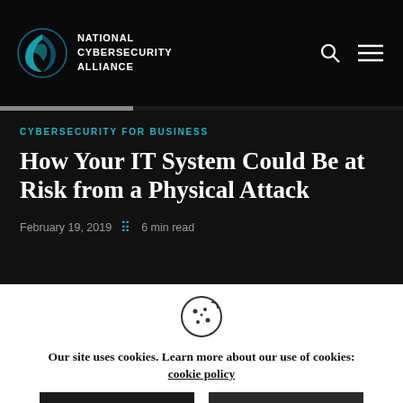NATIONAL CYBERSECURITY ALLIANCE
CYBERSECURITY FOR BUSINESS
How Your IT System Could Be at Risk from a Physical Attack
February 19, 2019  ·  6 min read
Our site uses cookies. Learn more about our use of cookies: cookie policy
ACCEPT
REJECT